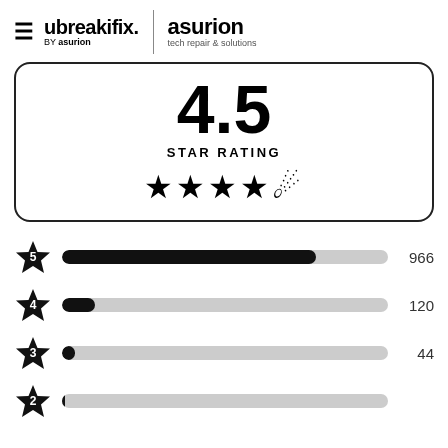ubreakifix. by asurion | asurion tech repair & solutions
4.5
STAR RATING
[Figure (infographic): 4.5 out of 5 stars rating display with star icons]
[Figure (bar-chart): Star Rating Breakdown]